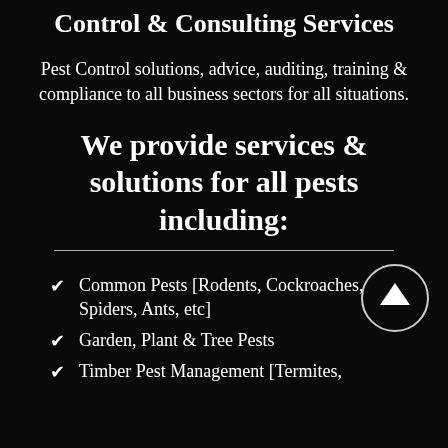Control & Consulting Services
Pest Control solutions, advice, auditing, training & compliance to all business sectors for all situations.
We provide services & solutions for all pests including:
Common Pests [Rodents, Cockroaches, Spiders, Ants, etc]
Garden, Plant & Tree Pests
Timber Pest Management [Termites,